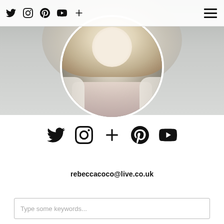Twitter, Instagram, Pinterest, YouTube, Plus, Hamburger menu
[Figure (photo): Circular profile photo of a young woman with curly blonde hair wearing a pink shirt and fluffy cream cardigan, photographed from the shoulders up. The image is cropped in a circle.]
[Figure (infographic): Row of social media icons: Twitter bird, Instagram camera, Plus sign, Pinterest P circle, YouTube play button — all large black icons centered on the page]
rebeccacoco@live.co.uk
Type some keywords...